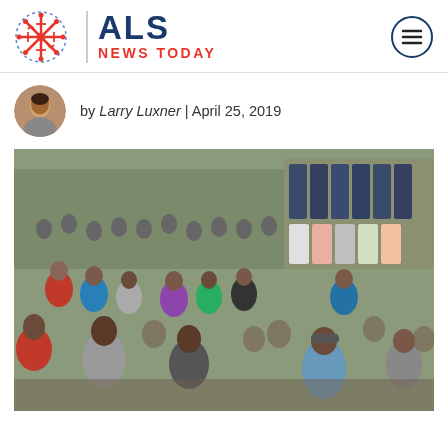ALS NEWS TODAY
by Larry Luxner | April 25, 2019
[Figure (photo): A large crowd of people at an outdoor market in what appears to be South Asia, with clothing hanging for sale in the background.]